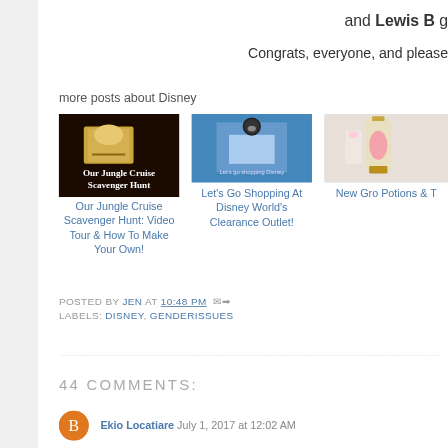and Lewis B g
Congrats, everyone, and please
more posts about Disney
[Figure (photo): Our Jungle Cruise Scavenger Hunt thumbnail image]
Our Jungle Cruise Scavenger Hunt: Video Tour & How To Make Your Own!
[Figure (photo): Let's Go Shopping At Disney World's Clearance Outlet thumbnail]
Let's Go Shopping At Disney World's Clearance Outlet!
[Figure (photo): New Gro Potions & T thumbnail]
New Gro Potions & T
POSTED BY JEN AT 10:48 PM
LABELS: DISNEY, GENDERISSUES
44 COMMENTS:
Ekio Locatiare July 1, 2017 at 12:02 AM